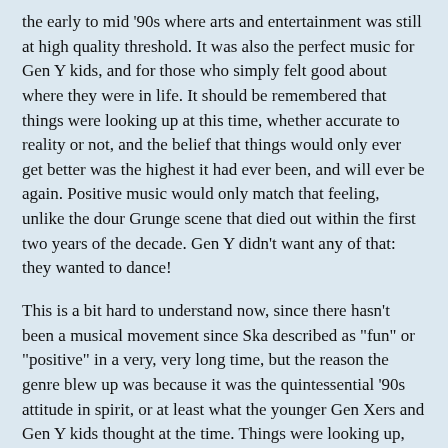the early to mid '90s where arts and entertainment was still at high quality threshold. It was also the perfect music for Gen Y kids, and for those who simply felt good about where they were in life. It should be remembered that things were looking up at this time, whether accurate to reality or not, and the belief that things would only ever get better was the highest it had ever been, and will ever be again. Positive music would only match that feeling, unlike the dour Grunge scene that died out within the first two years of the decade. Gen Y didn't want any of that: they wanted to dance!
This is a bit hard to understand now, since there hasn't been a musical movement since Ska described as "fun" or "positive" in a very, very long time, but the reason the genre blew up was because it was the quintessential '90s attitude in spirit, or at least what the younger Gen Xers and Gen Y kids thought at the time. Things were looking up, and they wanted music to reflect it. Just seeing it from this angle gives the genre explosion that came out of it a lot of context.
However, as suddenly as it came, by the end of the 1990s, 2000, it was over. You could blame overexposure, but the fall happened so suddenly and abruptly that it was almost comical. '80s Metal and